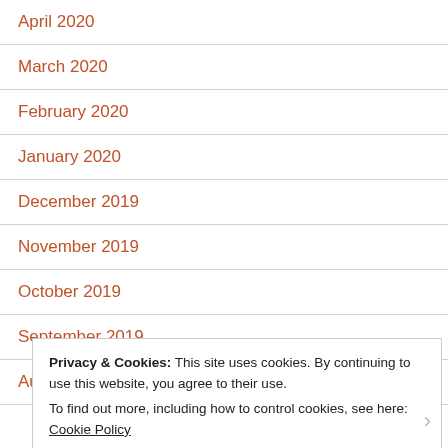April 2020
March 2020
February 2020
January 2020
December 2019
November 2019
October 2019
September 2019
August 2019
Privacy & Cookies: This site uses cookies. By continuing to use this website, you agree to their use.
To find out more, including how to control cookies, see here: Cookie Policy
Close and accept